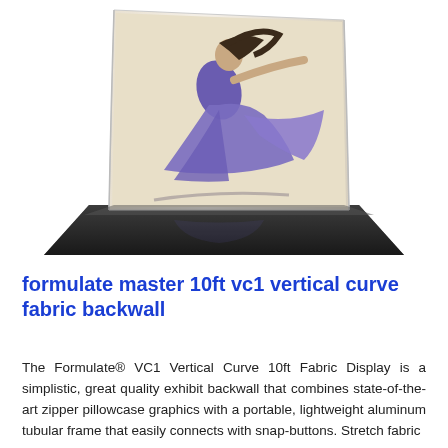[Figure (photo): Product photo of the Formulate Master 10ft VC1 Vertical Curve Fabric Backwall display, showing a curved fabric backwall with a dancer in a blue dress printed on it, mounted on a dark reflective base platform.]
formulate master 10ft vc1 vertical curve fabric backwall
The Formulate® VC1 Vertical Curve 10ft Fabric Display is a simplistic, great quality exhibit backwall that combines state-of-the-art zipper pillowcase graphics with a portable, lightweight aluminum tubular frame that easily connects with snap-buttons. Stretch fabric